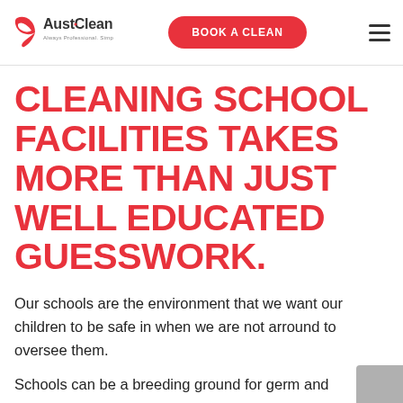AustClean | BOOK A CLEAN
CLEANING SCHOOL FACILITIES TAKES MORE THAN JUST WELL EDUCATED GUESSWORK.
Our schools are the environment that we want our children to be safe in when we are not arround to oversee them.
Schools can be a breeding ground for germ and